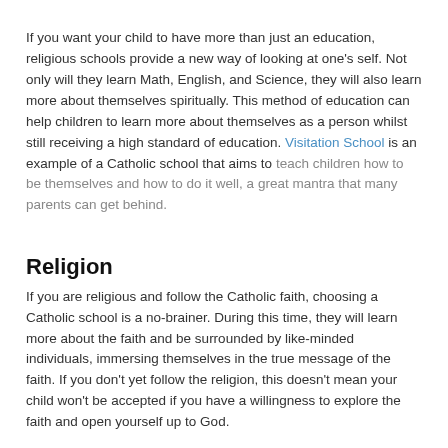If you want your child to have more than just an education, religious schools provide a new way of looking at one's self. Not only will they learn Math, English, and Science, they will also learn more about themselves spiritually. This method of education can help children to learn more about themselves as a person whilst still receiving a high standard of education. Visitation School is an example of a Catholic school that aims to teach children how to be themselves and how to do it well, a great mantra that many parents can get behind.
Religion
If you are religious and follow the Catholic faith, choosing a Catholic school is a no-brainer. During this time, they will learn more about the faith and be surrounded by like-minded individuals, immersing themselves in the true message of the faith. If you don't yet follow the religion, this doesn't mean your child won't be accepted if you have a willingness to explore the faith and open yourself up to God.